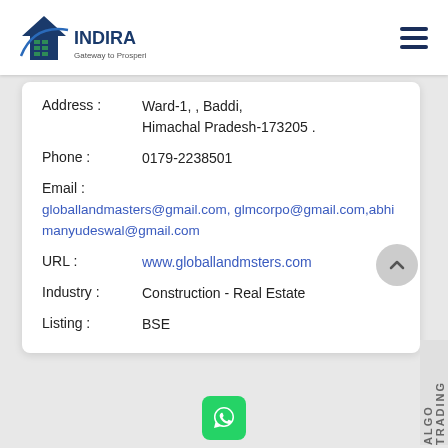Indira — Gateway to Prosperity
Address : Ward-1, , Baddi, Himachal Pradesh-173205 .
Phone : 0179-2238501
Email : globallandmasters@gmail.com, glmcorpo@gmail.com,abhimanyudeswal@gmail.com
URL : www.globallandmsters.com
Industry : Construction - Real Estate
Listing : BSE